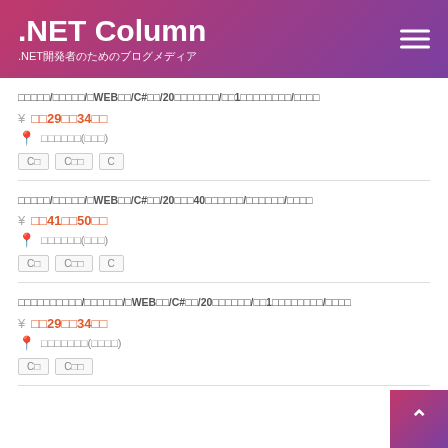.NET Column
.NET開発者のためのブログメディア
□□□□□/□□□□□/□WEB□□/C#□□/20□□□□□□□/□□1□□□□□□□□/□□□□
¥ □□29□□34□□
📍 □□□□□□(□□□)
C□  C□□  C
□□□□□/□□□□□/□WEB□□/C#□□/20□□□40□□□□□□/□□□□□□/□□□□
¥ □□41□□50□□
📍 □□□□□□(□□□)
C□  C□□  C
□□□□□□□□□□/□□□□□□/□WEB□□/C#□□/20□□□□□□/□□1□□□□□□□□/□□□□
¥ □□29□□34□□
📍 □□□□□□□(□□□□)
C□  C□□